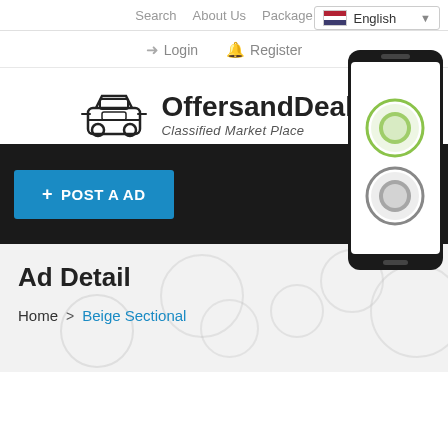Search  About Us  Package  English
Login  Register
[Figure (logo): OffersandDeals logo with car icon, text OffersandDeals and tagline Classified Market Place]
[Figure (screenshot): Mobile phone showing Android and Apple app store icons]
+ POST A AD
Mobile App
Ad Detail
Home > Beige Sectional